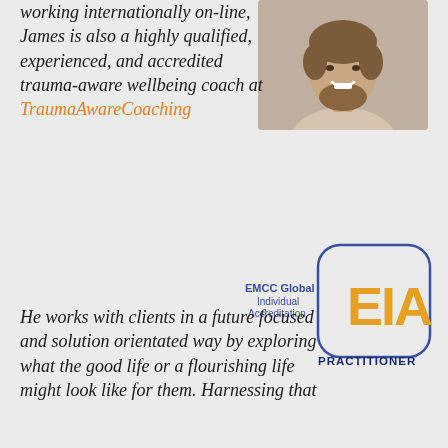[Figure (photo): Headshot of a man with a beard and short hair, smiling, wearing a light-colored top]
working internationally on-line, James is also a highly qualified, experienced, and accredited trauma-aware wellbeing coach at TraumaAwareCoaching He works with clients in a future focused and solution orientated way by exploring what the good life or a flourishing life might look like for them. Harnessing that
[Figure (logo): EMCC Global Individual Accreditation EIA PRACTITIONER logo]